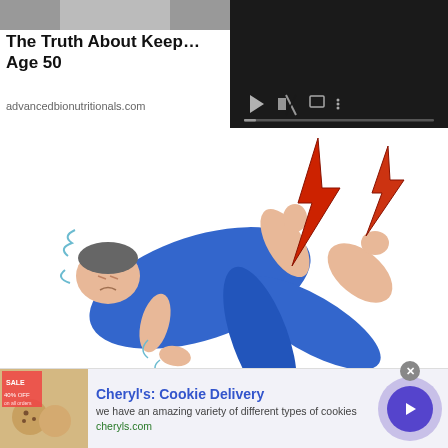[Figure (screenshot): Partial top image of a person, cropped, dark-toned photo]
The Truth About Keepi… Age 50
advancedbionutritionals.com
[Figure (screenshot): Video player with dark background, playback controls (play, mute, fullscreen, more), and a progress bar]
[Figure (illustration): Cartoon illustration of a person in blue pajamas lying down with pain lightning bolt symbols near their leg, suggesting leg cramps or pain]
Cheryl's: Cookie Delivery
we have an amazing variety of different types of cookies
cheryls.com